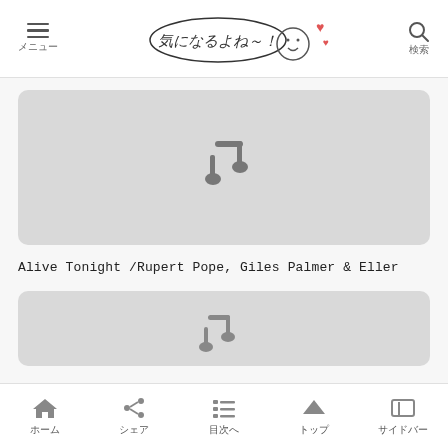メニュー | 気になるよね～! | 検索
[Figure (illustration): Music placeholder card with a grey music note icon on a light grey rounded rectangle background]
Alive Tonight /Rupert Pope, Giles Palmer & Eller
[Figure (illustration): Second music placeholder card, partially visible, grey rounded rectangle with partial music note visible]
ホーム | シェア | 目次へ | トップ | サイドバー